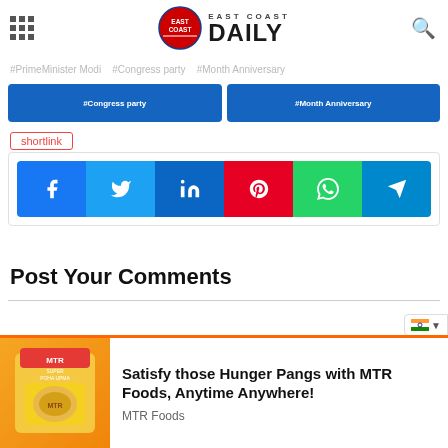East Coast Daily
[Figure (logo): East Coast Daily logo with red circle containing EAST COAST text and DAILY in large bold letters]
#PrimeMinister Modi #Congress party #Month Anniversary
shortlink
[Figure (infographic): Social media share buttons: Facebook, Twitter, LinkedIn, Pinterest, WhatsApp, Telegram]
Post Your Comments
[Figure (illustration): MTR Foods advertisement showing a yellow packet of food product]
Satisfy those Hunger Pangs with MTR Foods, Anytime Anywhere!
MTR Foods